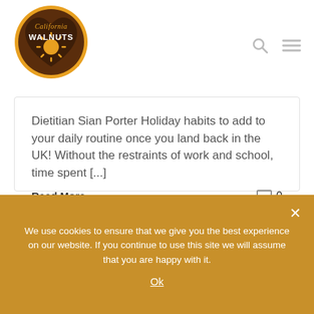[Figure (logo): California Walnuts logo — brown heart-shaped shield with golden sun burst, 'California' in script and 'WALNUTS' in bold white text, gold circular border]
Dietitian Sian Porter Holiday habits to add to your daily routine once you land back in the UK! Without the restraints of work and school, time spent [...]
Read More >
0
We use cookies to ensure that we give you the best experience on our website. If you continue to use this site we will assume that you are happy with it.
Ok